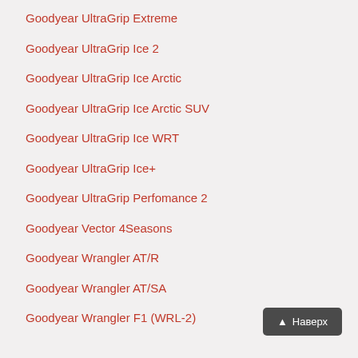Goodyear UltraGrip Extreme
Goodyear UltraGrip Ice 2
Goodyear UltraGrip Ice Arctic
Goodyear UltraGrip Ice Arctic SUV
Goodyear UltraGrip Ice WRT
Goodyear UltraGrip Ice+
Goodyear UltraGrip Perfomance 2
Goodyear Vector 4Seasons
Goodyear Wrangler AT/R
Goodyear Wrangler AT/SA
Goodyear Wrangler F1 (WRL-2)